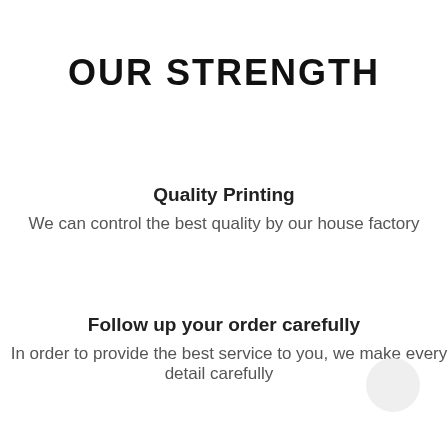OUR STRENGTH
Quality Printing
We can control the best quality by our house factory
Follow up your order carefully
In order to provide the best service to you, we make every detail carefully